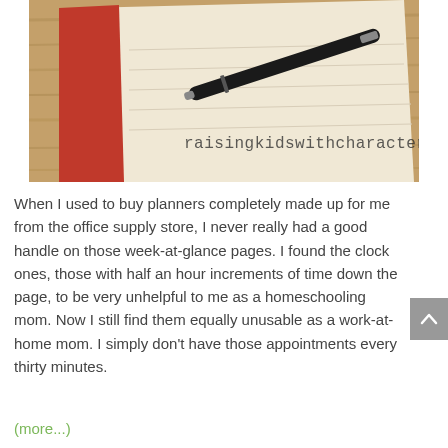[Figure (photo): A black pen resting on an open cream-colored notebook with a red cover, placed on a wooden surface. Text overlay reads 'raisingkidswithcharacter.com'.]
When I used to buy planners completely made up for me from the office supply store, I never really had a good handle on those week-at-glance pages. I found the clock ones, those with half an hour increments of time down the page, to be very unhelpful to me as a homeschooling mom. Now I still find them equally unusable as a work-at-home mom. I simply don't have those appointments every thirty minutes.
(more...)